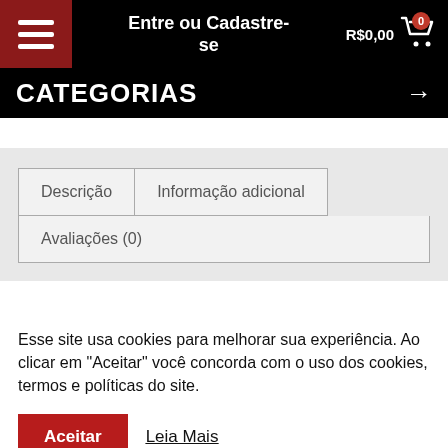Entre ou Cadastre-se | R$0,00 | CATEGORIAS
Descrição | Informação adicional | Avaliações (0)
Esse site usa cookies para melhorar sua experiência. Ao clicar em "Aceitar" você concorda com o uso dos cookies, termos e políticas do site.
Aceitar  Leia Mais